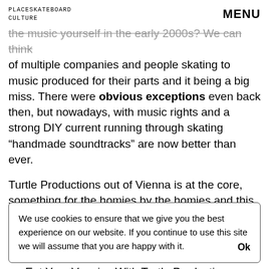PLACESKATEBOARD CULTURE   MENU
the music yourself in the early 2000s? We can think of multiple companies and people skating to music produced for their parts and it being a big miss. There were obvious exceptions even back then, but nowadays, with music rights and a strong DIY current running through skating “handmade soundtracks” are now better than ever.
Turtle Productions out of Vienna is at the core, something for the homies by the homies and this video shows that all the homies have their own skills that contribute to the whole. From the A-2-B, this was handcrafted with love.
Eat Your Veggies With Turtle Productions
We use cookies to ensure that we give you the best experience on our website. If you continue to use this site we will assume that you are happy with it.  Ok